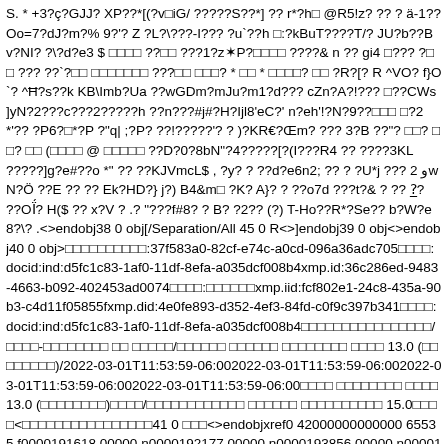S. * +3?ç?GJJ? XP??*[(?v□iG/ ?????S??*] ?? r*?h□ @R5!z? ?? ? ä-1??Oo=7?dJ?m?% 9?'? Z ?L?\???-I??? ?u`??h □:?kBuT????T/? JU?b??Bv?NI? ?\?d?e3 $ □□□□ ??□□ ???1?z✦P?□□□□ ????& n ?? gi4 □??? ?□□ ??? ??`?□□ □□□□□□□ ???□□ □□□? * □□ * □□□□? □□ ?R?[? R ^VO? f}O`? ^Ħ?s??k KB\Imb?Ua ??wGDm?mJu?m1?d??? cZn?A?!??? □??CWs ]yN?2???c???2?????h ??n???#j#?H?Ijl8'eC?' n?eh'!?N?9??□□□ □?2 *'?? ?P6?□*?P ?"q| ;?P? ??!?????'? ? )?KR€?Œm? ??? 3?B ??"? □□? □□? □□ (□□□□ @ □□□□□ ??D?0?8bN"?4?????[?(I???R4 ?? ????3KL ?????]g?e#??o *" ?? ??KJVmcL$ , ?y? ? ??d?e6n2; ?? ? ?U*j ??? ﻭ 2wN?Ö ??E ?? ?? Ek?HD?} j?) B4&m□ ?K? A}? ? ??o7d ???t?& ? ?? ?̲? ??Ȯ? H($ ?? x?V ? .? "???f#8? ? B? ?2?? (?) T-Ho??R*?Se?? b?W?e8?\? .<>endobj38 0 obj[/Separation/All 45 0 R<>]endobj39 0 obj<>endobj40 0 obj>□□□□□□□□□□:37f583a0-82cf-e74c-a0cd-096a36adc705□□□□: docid:ind:d5fc1c83-1af0-11df-8efa-a035dcf008b4xmp.id:36c286ed-9483-4663-b092-402453ad0074□□□□:□□□□□□xmp.iid:fcf802e1-24c8-435a-90b3-c4d11f05855fxmp.did:4e0fe893-d352-4ef3-84fd-c0f9c397b341□□□□: docid:ind:d5fc1c83-1af0-11df-8efa-a035dcf008b4□□□□□□□□□□□□□□□□/□□□□-□□□□□□□□□ □□ □□□□□/□□□□□□ □□□□□□ □□□□□□□□ □□□□ 13.0 (□□□□□□□□)/2022-03-01T11:53:59-06:002022-03-01T11:53:59-06:002022-03-01T11:53:59-06:002022-03-01T11:53:59-06:00□□□□ □□□□□□□□ □□□□ 13.0 (□□□□□□□□)□□□□/□□□□□□□□□□□□ □□□□□□ □□□□□□□□□□ 15.0□□□□<□□□□□□□□□□□□□□□□41 0 □□□<>endobjxref0 42000000000000 65535 f0000191618 00000 n0000192177 00000 n0000193856 00000 n0000193885 00000 n0000193957 00000